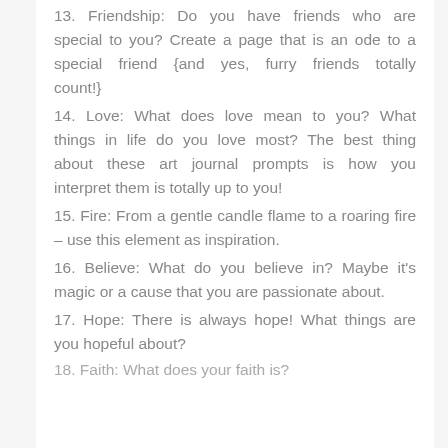13.  Friendship:  Do  you  have  friends  who  are special to you? Create a page that is an ode to a special  friend  {and  yes,  furry  friends  totally count!}
14.  Love:  What  does  love  mean  to  you?  What things  in  life  do  you  love  most?  The  best  thing about  these  art  journal  prompts  is  how  you interpret them is totally up to you!
15. Fire: From a gentle candle flame to a roaring fire – use this element as inspiration.
16. Believe: What do you believe in? Maybe it's magic or a cause that you are passionate about.
17. Hope: There is always hope! What things are you hopeful about?
18. Faith: What does your faith is?